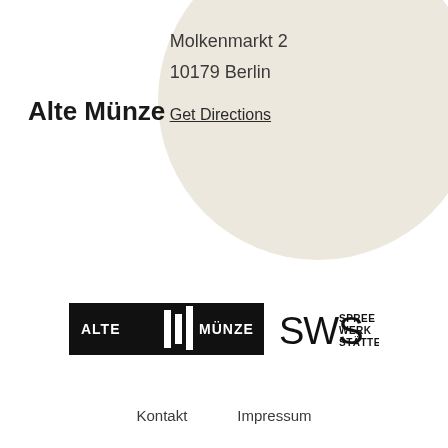Alte Münze
Molkenmarkt 2
10179 Berlin
Get Directions
[Figure (logo): Alte Münze and SWS Spree Werk Stätten logos side by side]
Kontakt   Impressum